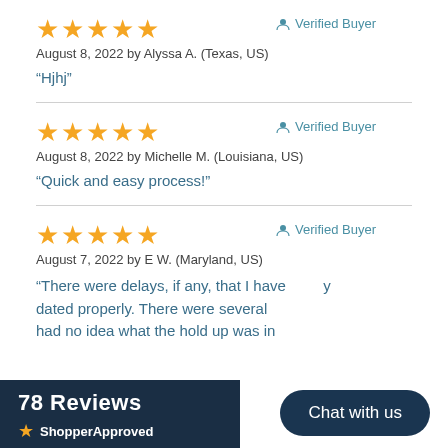[Figure (other): 5 orange stars rating]
Verified Buyer
August 8, 2022 by Alyssa A. (Texas, US)
“Hjhj”
[Figure (other): 5 orange stars rating]
Verified Buyer
August 8, 2022 by Michelle M. (Louisiana, US)
“Quick and easy process!”
[Figure (other): 5 orange stars rating]
Verified Buyer
August 7, 2022 by E W. (Maryland, US)
“There were delays, if any, that I have ... dated properly. There were several had no idea what the hold up was in
78 Reviews
[Figure (logo): ShopperApproved logo with star]
Chat with us